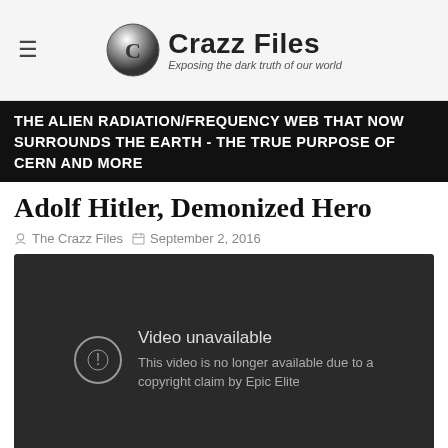Crazz Files — Exposing the dark truth of our world
THE ALIEN RADIATION/FREQUENCY WEB THAT NOW SURROUNDS THE EARTH - THE TRUE PURPOSE OF CERN AND MORE
Adolf Hitler, Demonized Hero
The Crazz Files  September 2, 2016
[Figure (screenshot): Embedded YouTube video player showing 'Video unavailable – This video is no longer available due to a copyright claim by Epic Elite']